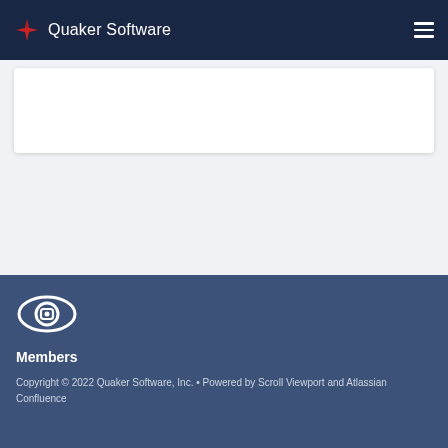Quaker Software
[Figure (logo): Quaker Software logo: red star/compass icon with 'Quaker Software' text in white on dark navy background, hamburger menu icon on right]
[Figure (screenshot): White card/panel area on light gray background]
[Figure (logo): Eye/camera icon in white outline on dark blue-gray footer background]
Members
Copyright © 2022 Quaker Software, Inc. • Powered by Scroll Viewport and Atlassian Confluence